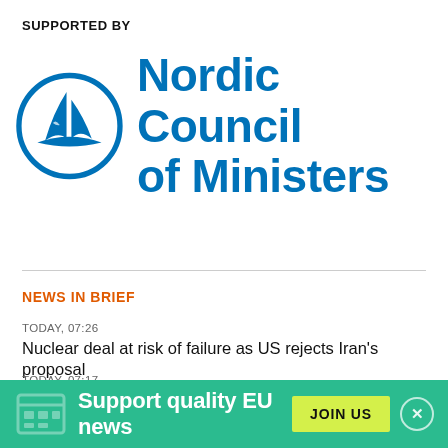SUPPORTED BY
[Figure (logo): Nordic Council of Ministers logo — blue circular emblem with stylized sail/wing shapes and blue bold text reading 'Nordic Council of Ministers']
NEWS IN BRIEF
TODAY, 07:26
Nuclear deal at risk of failure as US rejects Iran's proposal
TODAY, 07:17
UN: integrity of Ukrainian power plant 'violated'
Support quality EU news
JOIN US